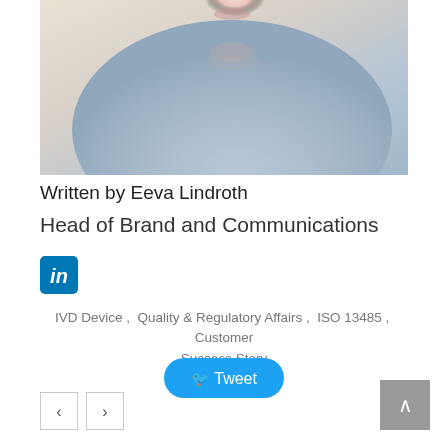[Figure (photo): Portrait photo of Eeva Lindroth, cropped to show neck and torso wearing a light blue/grey knit sweater, against a warm beige background]
Written by Eeva Lindroth
Head of Brand and Communications
[Figure (logo): LinkedIn icon - blue rounded square with white 'in' text]
IVD Device ,  Quality & Regulatory Affairs ,  ISO 13485 ,  Customer Success Story
Tweet
[Figure (infographic): Navigation previous button with left arrow chevron]
[Figure (infographic): Navigation next button with right arrow chevron]
[Figure (infographic): Back to top button with upward chevron arrow]